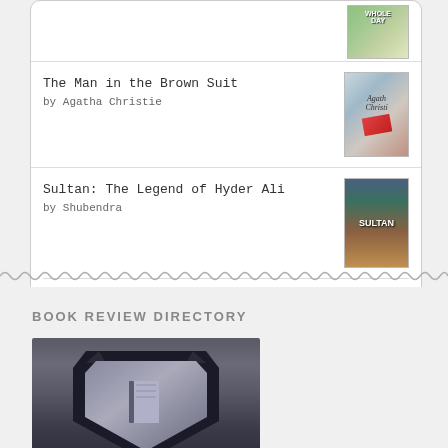[Figure (screenshot): Goodreads widget showing book list with covers. Top partial book cover visible. 'The Man in the Brown Suit by Agatha Christie' with cover. 'Sultan: The Legend of Hyder Ali by Shubendra' with cover. Goodreads button at bottom.]
[Figure (logo): Goodreads logo button with rounded border]
[Figure (illustration): Wavy decorative zigzag divider line]
BOOK REVIEW DIRECTORY
[Figure (photo): Photo of a shield/crest with an open book in the center, dark colored, representing a book review directory]